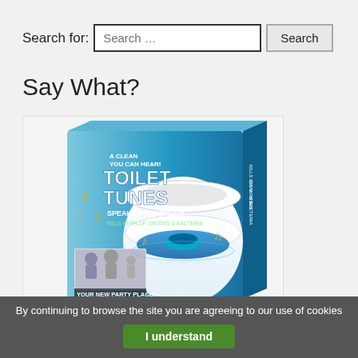Search for:
[Figure (screenshot): A search input field with placeholder text 'Search ...' and a 'Search' button]
Say What?
[Figure (photo): Product photo of 'Toilet Tunes Speaker + Sanitizer' box showing a toilet with a blue sanitizer device in the bowl, musical notes, and text 'A Clean You Can Hear!', 'Kills 99.9% of Viruses & Bacteria', 'Your New Party Place!']
By continuing to browse the site you are agreeing to our use of cookies
I understand